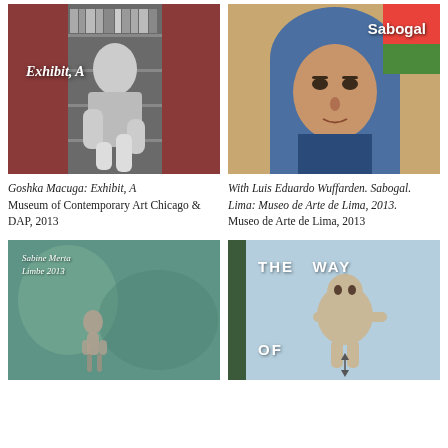[Figure (photo): Black and white photo of a woman sitting in front of a bookshelf, with text 'Exhibit, A' overlaid]
[Figure (photo): Colorful painting of a person with a blue headscarf, with text 'Sabogal' overlaid]
Goshka Macuga: Exhibit, A
Museum of Contemporary Art Chicago & DAP, 2013
With Luis Eduardo Wuffarden. Sabogal. Lima: Museo de Arte de Lima, 2013.
Museo de Arte de Lima, 2013
[Figure (photo): Painting with teal/green tones showing a small figure, with text overlay 'Sabine Merta Limbe 2013']
[Figure (photo): Blue background book cover with ceramic figure and text 'THE WAY OF']